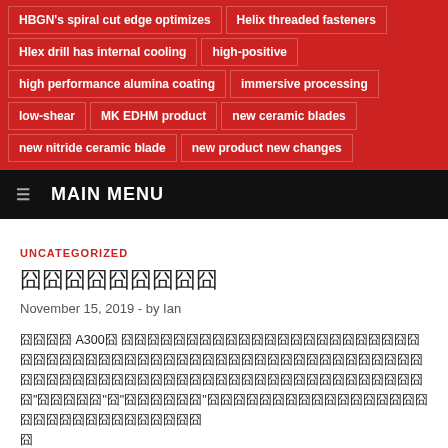HBGN's spiral cut edge optimizes
Helix threaded fasteners
HIex drill has internal cooling
high-positive
high performance alumina coating
immersive processing
low-shear
MK EDHM product
new ceramic blades
new nitride ceramic blade
new product new changes
☰  MAIN MENU
UNCATEGORIZED
囧囧囧囧囧囧囧囧囧
November 15, 2019  -  by Ian
囧囧囧囧 A300囧 囧囧囧囧囧囧囧囧囧囧囧囧囧囧囧囧囧囧囧囧囧囧囧囧囧囧囧囧囧囧囧囧囧囧囧囧囧囧囧囧囧囧囧囧囧囧囧囧囧囧囧囧囧囧囧囧囧囧囧囧囧囧囧囧囧囧囧囧囧囧囧囧囧囧囧囧囧囧囧囧囧囧囧"囧囧囧囧囧"囧"囧囧囧囧囧囧"囧囧囧囧囧囧囧囧囧囧囧囧囧囧囧囧囧囧囧囧囧囧囧囧囧囧囧囧囧囧囧